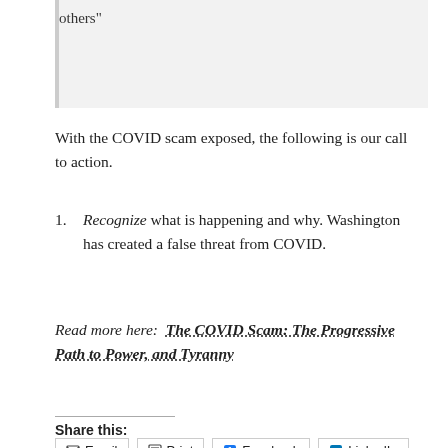others"
With the COVID scam exposed, the following is our call to action.
Recognize what is happening and why. Washington has created a false threat from COVID.
Read more here:  The COVID Scam: The Progressive Path to Power, and Tyranny
Share this:
Email  Print  Facebook  LinkedIn